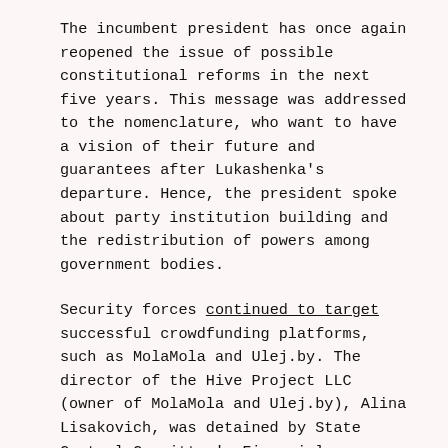The incumbent president has once again reopened the issue of possible constitutional reforms in the next five years. This message was addressed to the nomenclature, who want to have a vision of their future and guarantees after Lukashenka's departure. Hence, the president spoke about party institution building and the redistribution of powers among government bodies.
Security forces continued to target successful crowdfunding platforms, such as MolaMola and Ulej.by. The director of the Hive Project LLC (owner of MolaMola and Ulej.by), Alina Lisakovich, was detained by State Control Committee's Financial Investigation department officers and released after an interrogation by the KGB.